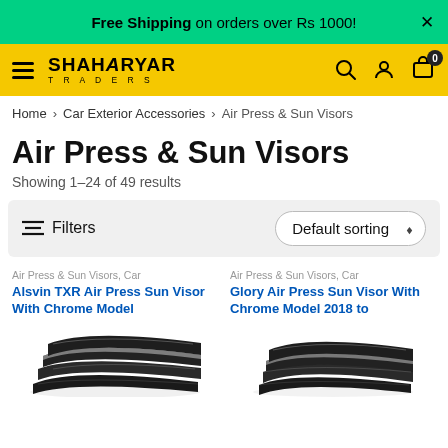Free Shipping on orders over Rs 1000!
[Figure (logo): SHAHARYAR TRADERS logo on yellow navigation bar with hamburger menu, search, user, and cart icons]
Home > Car Exterior Accessories > Air Press & Sun Visors
Air Press & Sun Visors
Showing 1–24 of 49 results
Filters  Default sorting
Air Press & Sun Visors, Car
Alsvin TXR Air Press Sun Visor With Chrome Model
Air Press & Sun Visors, Car
Glory Air Press Sun Visor With Chrome Model 2018 to
[Figure (photo): Dark tinted car window visor/deflector set for Alsvin TXR]
[Figure (photo): Dark tinted car window visor/deflector set for Glory 2018]